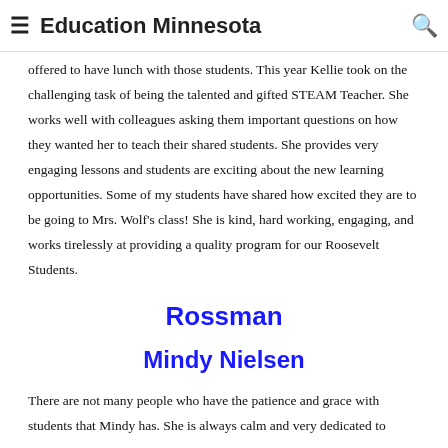Education Minnesota
offered to have lunch with those students. This year Kellie took on the challenging task of being the talented and gifted STEAM Teacher. She works well with colleagues asking them important questions on how they wanted her to teach their shared students. She provides very engaging lessons and students are exciting about the new learning opportunities. Some of my students have shared how excited they are to be going to Mrs. Wolf's class! She is kind, hard working, engaging, and works tirelessly at providing a quality program for our Roosevelt Students.
Rossman
Mindy Nielsen
There are not many people who have the patience and grace with students that Mindy has. She is always calm and very dedicated to